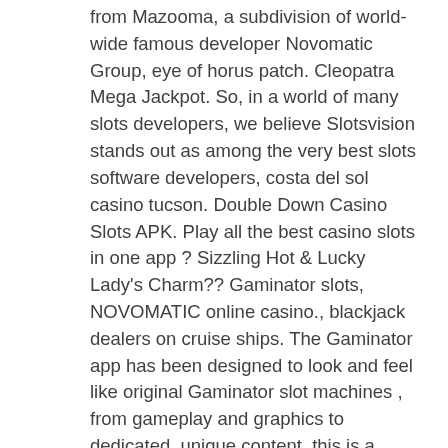from Mazooma, a subdivision of world-wide famous developer Novomatic Group, eye of horus patch. Cleopatra Mega Jackpot. So, in a world of many slots developers, we believe Slotsvision stands out as among the very best slots software developers, costa del sol casino tucson. Double Down Casino Slots APK. Play all the best casino slots in one app ? Sizzling Hot & Lucky Lady's Charm?? Gaminator slots, NOVOMATIC online casino., blackjack dealers on cruise ships. The Gaminator app has been designed to look and feel like original Gaminator slot machines , from gameplay and graphics to dedicated, unique content, this is a casino slot experience like classic Gaminator slots! On our site you will find such popular slot games as Book of Ra, Starburst, Columbus Deluxe and Zeus and you can read all the important information about them, new york state gambling constitutional amendment. If